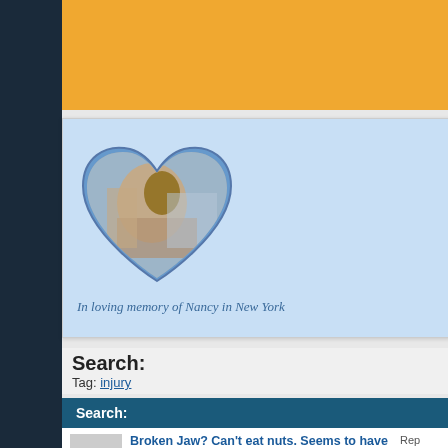[Figure (photo): Orange/yellow banner advertisement area at the top of the forum page]
[Figure (photo): Memorial banner with a heart-shaped photo of a hand holding a small animal (squirrel), on a light blue background]
In loving memory of Nancy in New York
Search:
Tag: injury
Search:
Broken Jaw? Can't eat nuts. Seems to have had a
Started by acorm, 07-17-2022 03:18 PM
Rep
Views:
Forum:
Non L
swollen leg with puss
Started by NicknKara, 06-26-2021 12:44 PM
Rep
Views: